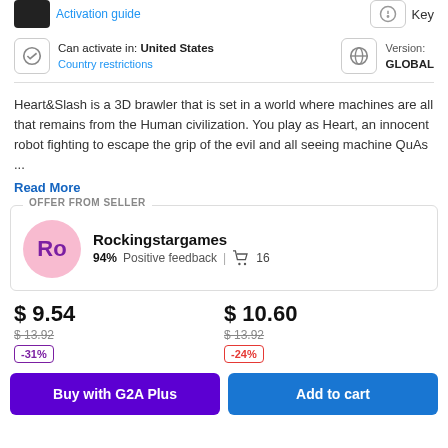Activation guide
Key
Can activate in: United States
Country restrictions
Version:
GLOBAL
Heart&Slash is a 3D brawler that is set in a world where machines are all that remains from the Human civilization. You play as Heart, an innocent robot fighting to escape the grip of the evil and all seeing machine QuAs ...
Read More
OFFER FROM SELLER
Rockingstargames
94% Positive feedback | 16
$ 9.54
$13.92
-31%
$ 10.60
$13.92
-24%
Buy with G2A Plus
Add to cart